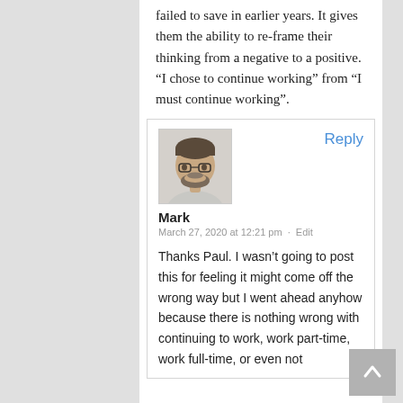failed to save in earlier years. It gives them the ability to re-frame their thinking from a negative to a positive. “I chose to continue working” from “I must continue working”.
[Figure (photo): Avatar photo of a man with glasses and a beard, wearing a light grey shirt.]
Reply
Mark
March 27, 2020 at 12:21 pm · Edit
Thanks Paul. I wasn’t going to post this for feeling it might come off the wrong way but I went ahead anyhow because there is nothing wrong with continuing to work, work part-time, work full-time, or even not